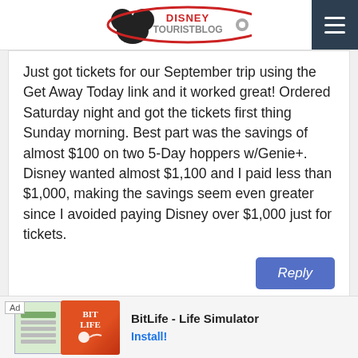DISNEYTOURISTBLOG
Just got tickets for our September trip using the Get Away Today link and it worked great! Ordered Saturday night and got the tickets first thing Sunday morning. Best part was the savings of almost $100 on two 5-Day hoppers w/Genie+. Disney wanted almost $1,100 and I paid less than $1,000, making the savings seem even greater since I avoided paying Disney over $1,000 just for tickets.
Reply
Carissa
March 29, 2022
Hi! I cannot find this info anywhere: are Cast Me... L. or D... e
[Figure (photo): Avatar photo of a person wearing a Mickey Mouse shirt]
[Figure (infographic): BitLife - Life Simulator advertisement banner with Ad label, app icon images, title text and Install button]